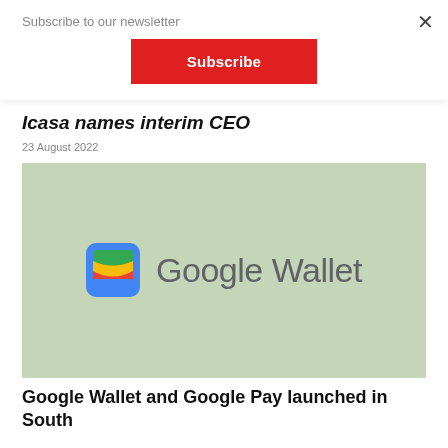×
Subscribe to our newsletter
Subscribe
Icasa names interim CEO
23 August 2022
[Figure (logo): Google Wallet logo — colorful wallet icon on light green background with 'Google Wallet' text in grey]
Google Wallet and Google Pay launched in South